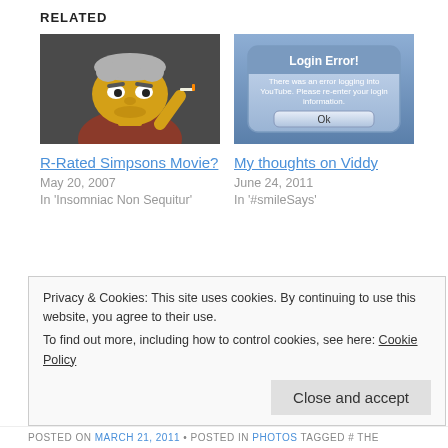RELATED
[Figure (photo): Simpsons character with grey hair smoking a cigarette, dark background]
R-Rated Simpsons Movie?
May 20, 2007
In 'Insomniac Non Sequitur'
[Figure (screenshot): Login Error dialog box: 'There was an error logging into YouTube. Please re-enter your login information.' with Ok button]
My thoughts on Viddy
June 24, 2011
In '#smileSays'
If you want to work in entertainment
In the last couple of years, I've been embracing this whole social networking,
Privacy & Cookies: This site uses cookies. By continuing to use this website, you agree to their use.
To find out more, including how to control cookies, see here: Cookie Policy
Close and accept
POSTED ON MARCH 21, 2011 • POSTED IN PHOTOS TAGGED # THE